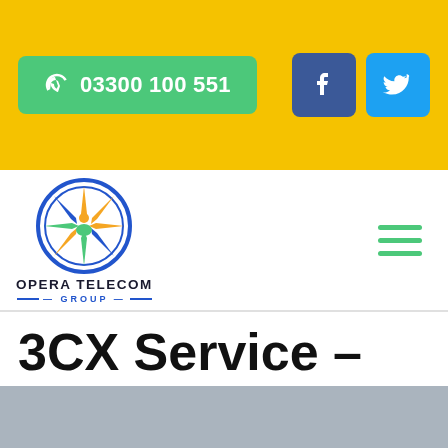03300 100 551
[Figure (logo): Opera Telecom Group logo — circular emblem with colorful figures and star, with bold text OPERA TELECOM GROUP below]
3CX Service – Cheltenham
[Figure (other): Grey placeholder/image bar at bottom of page]